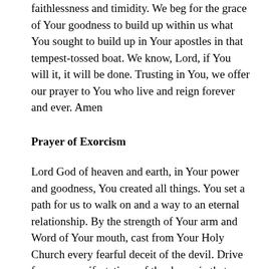faithlessness and timidity. We beg for the grace of Your goodness to build up within us what You sought to build up in Your apostles in that tempest-tossed boat. We know, Lord, if You will it, it will be done. Trusting in You, we offer our prayer to You who live and reign forever and ever. Amen
Prayer of Exorcism
Lord God of heaven and earth, in Your power and goodness, You created all things. You set a path for us to walk on and a way to an eternal relationship. By the strength of Your arm and Word of Your mouth, cast from Your Holy Church every fearful deceit of the devil. Drive from us manifestations of the demonic that oppress us and beckon us to faithlessness and disbelief. Still the driving terror of